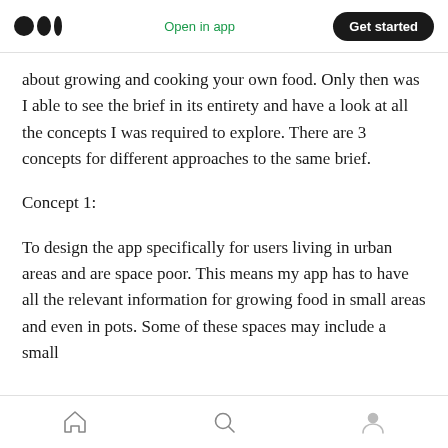Medium logo | Open in app | Get started
about growing and cooking your own food. Only then was I able to see the brief in its entirety and have a look at all the concepts I was required to explore. There are 3 concepts for different approaches to the same brief.
Concept 1:
To design the app specifically for users living in urban areas and are space poor. This means my app has to have all the relevant information for growing food in small areas and even in pots. Some of these spaces may include a small
Home | Search | Profile